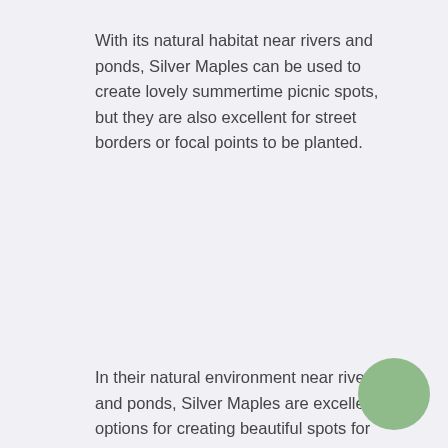With its natural habitat near rivers and ponds, Silver Maples can be used to create lovely summertime picnic spots, but they are also excellent for street borders or focal points to be planted.
In their natural environment near rivers and ponds, Silver Maples are excellent options for creating beautiful spots for summer picnics and are equally suitable for planting as a border or focal point on a street.